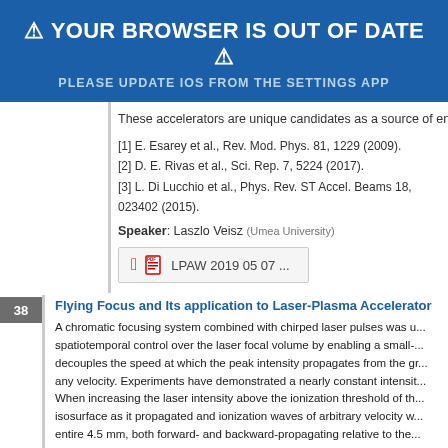⚠ YOUR BROWSER IS OUT OF DATE ⚠
PLEASE UPDATE IOS FROM THE SETTINGS APP
These accelerators are unique candidates as a source of energetic X-ray
[1] E. Esarey et al., Rev. Mod. Phys. 81, 1229 (2009).
[2] D. E. Rivas et al., Sci. Rep. 7, 5224 (2017).
[3] L. Di Lucchio et al., Phys. Rev. ST Accel. Beams 18, 023402 (2015).
Speaker: Laszlo Veisz (Umea University)
[Figure (other): PDF download button labeled 'LPAW 2019 05 07 ...']
38 Flying Focus and Its application to Laser-Plasma Accelerator
A chromatic focusing system combined with chirped laser pulses was u... spatiotemporal control over the laser focal volume by enabling a small-... decouples the speed at which the peak intensity propagates from the gr... any velocity. Experiments have demonstrated a nearly constant intensit... When increasing the laser intensity above the ionization threshold of th... isosurface as it propagated and ionization waves of arbitrary velocity w... entire 4.5 mm, both forward- and backward-propagating relative to the ... refraction, which typically challenges the formation of long, contiguous ... in laser-plasma accelerators, but theory predicts that the overall accele...